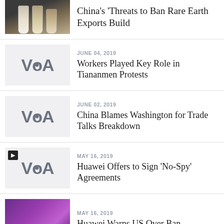[Figure (photo): Photo of rare earth mineral vials/containers in dark background]
China's Threats to Ban Rare Earth Exports Build
[Figure (logo): VOA (Voice of America) logo on light gray background]
JUNE 04, 2019
Workers Played Key Role in Tiananmen Protests
[Figure (logo): VOA (Voice of America) logo on light gray background]
JUNE 02, 2019
China Blames Washington for Trade Talks Breakdown
[Figure (logo): VOA (Voice of America) logo on light gray background with video badge]
MAY 16, 2019
Huawei Offers to Sign 'No-Spy' Agreements
[Figure (photo): Photo of event venue with purple/pink lighting]
MAY 16, 2019
Huawei Warns US Over Ban